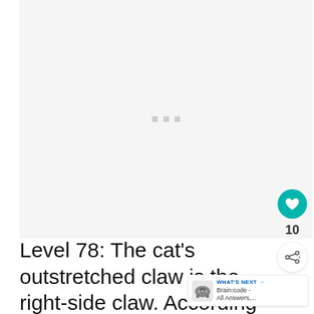[Figure (other): Large image area showing a loading/placeholder state with three small gray squares centered in a light gray rectangular region]
Level 78: The cat’s outstretched claw is the right-side claw. According to the
[Figure (screenshot): WHAT'S NEXT arrow badge with Brain:code - All Answers,... text and game controller icon]